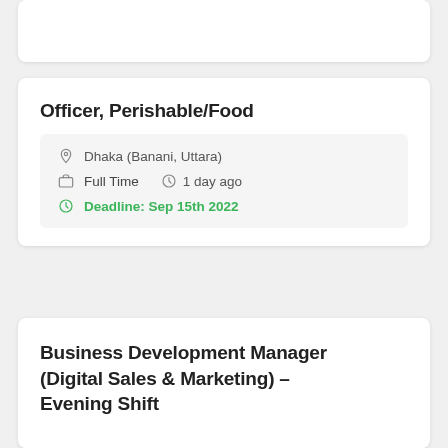Officer, Perishable/Food
Dhaka (Banani, Uttara)
Full Time  1 day ago
Deadline: Sep 15th 2022
Business Development Manager (Digital Sales & Marketing) – Evening Shift